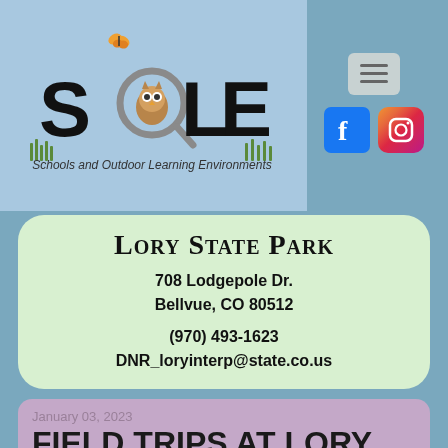[Figure (logo): SOLE - Schools and Outdoor Learning Environments logo with owl and magnifying glass illustration]
Lory State Park
708 Lodgepole Dr.
Bellvue, CO 80512

(970) 493-1623
DNR_loryinterp@state.co.us
January 03, 2023
FIELD TRIPS AT LORY
Environmental Education Programs include guided hikes, wild animals and their habitats...